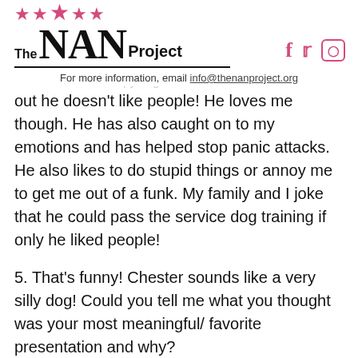[Figure (logo): The NAN Project logo with pink stars and underline, alongside pink social media icons (Facebook, Twitter, Instagram)]
For more information, email info@thenanproject.org
out he doesn't like people! He loves me though. He has also caught on to my emotions and has helped stop panic attacks. He also likes to do stupid things or annoy me to get me out of a funk. My family and I joke that he could pass the service dog training if only he liked people!
5. That's funny! Chester sounds like a very silly dog! Could you tell me what you thought was your most meaningful/ favorite presentation and why?
One school that stuck out to me had a class full of students that didn't speak English. They had to have a